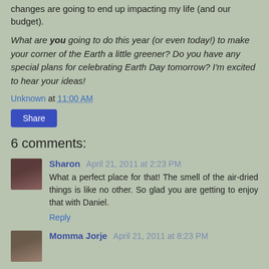changes are going to end up impacting my life (and our budget).
What are you going to do this year (or even today!) to make your corner of the Earth a little greener? Do you have any special plans for celebrating Earth Day tomorrow? I'm excited to hear your ideas!
Unknown at 11:00 AM
Share
6 comments:
Sharon April 21, 2011 at 2:23 PM
What a perfect place for that! The smell of the air-dried things is like no other. So glad you are getting to enjoy that with Daniel.
Reply
Momma Jorje April 21, 2011 at 8:23 PM